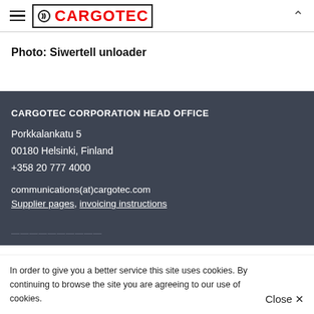CARGOTEC
Photo: Siwertell unloader
CARGOTEC CORPORATION HEAD OFFICE
Porkkalankatu 5
00180 Helsinki, Finland
+358 20 777 4000
communications(at)cargotec.com
Supplier pages, invoicing instructions
In order to give you a better service this site uses cookies. By continuing to browse the site you are agreeing to our use of cookies.